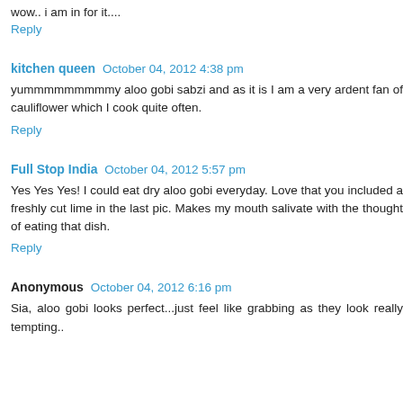wow.. i am in for it....
Reply
kitchen queen  October 04, 2012 4:38 pm
yummmmmmmmmy aloo gobi sabzi and as it is I am a very ardent fan of cauliflower which I cook quite often.
Reply
Full Stop India  October 04, 2012 5:57 pm
Yes Yes Yes! I could eat dry aloo gobi everyday. Love that you included a freshly cut lime in the last pic. Makes my mouth salivate with the thought of eating that dish.
Reply
Anonymous  October 04, 2012 6:16 pm
Sia, aloo gobi looks perfect...just feel like grabbing as they look really tempting..